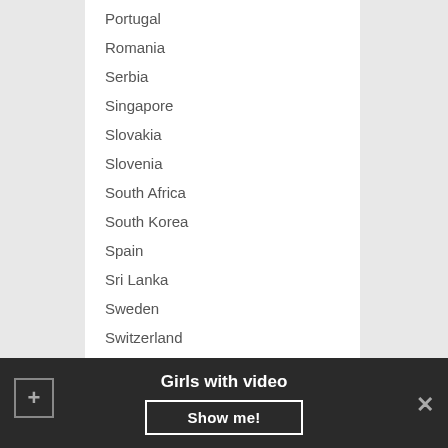Portugal
Romania
Serbia
Singapore
Slovakia
Slovenia
South Africa
South Korea
Spain
Sri Lanka
Sweden
Switzerland
Taiwan
Thailand
The Bahamas
Trinidad and Tobago
Turkey
United Arab Emirates
Girls with video
Show me!